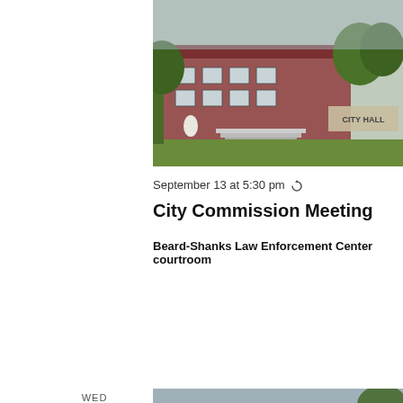[Figure (photo): Exterior photo of City Hall building with brick facade, steps, lawn, trees, and a 'CITY HALL' sign]
September 13 at 5:30 pm ↺
City Commission Meeting
Beard-Shanks Law Enforcement Center courtroom
WED
14
[Figure (photo): Exterior photo of Pittsburg Memorial Auditorium with ornate brick and stone facade, arched windows, globe lamp posts, and engraved sign reading PITTSBURG MEMORIAL AUDITORIUM]